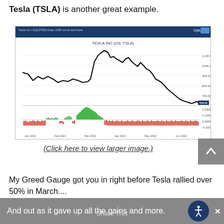Tesla (TSLA) is another great example.
[Figure (screenshot): Optuma chart screenshot showing Tesla Inc (US: TSLA) stock price from Jan 2022 to Jun 2022, with a price line chart on top showing a rise from ~$900 to a peak near $1200 in Mar-Apr 2022 then declining to ~$550, and a Greed Gauge daily histogram below with red bars on left and right and tall green bars in the middle (March-April 2022).]
(Click here to view larger image.)
My Greed Gauge got you in right before Tesla rallied over 50% in March....
And out as it gave up all the gains and more.